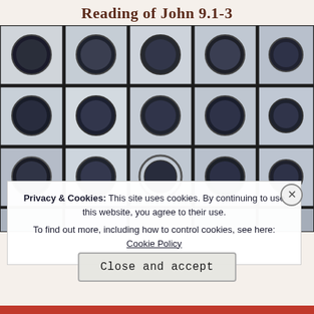Reading of John 9.1-3
[Figure (photo): Black and white photo of a modernist building facade featuring a grid of white cubic modules, each with a large circular porthole-style window. The architecture is angular and repetitive, resembling capsule or pod housing units stacked together.]
Privacy & Cookies: This site uses cookies. By continuing to use this website, you agree to their use.
To find out more, including how to control cookies, see here: Cookie Policy
Close and accept